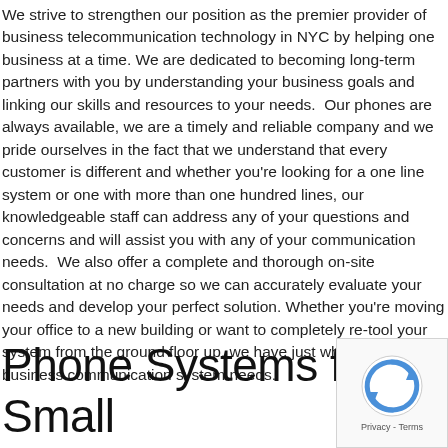We strive to strengthen our position as the premier provider of business telecommunication technology in NYC by helping one business at a time. We are dedicated to becoming long-term partners with you by understanding your business goals and linking our skills and resources to your needs.  Our phones are always available, we are a timely and reliable company and we pride ourselves in the fact that we understand that every customer is different and whether you're looking for a one line system or one with more than one hundred lines, our knowledgeable staff can address any of your questions and concerns and will assist you with any of your communication needs.  We also offer a complete and thorough on-site consultation at no charge so we can accurately evaluate your needs and develop your perfect solution. Whether you're moving your office to a new building or want to completely re-tool your system from the ground floor up, we have just what your business communication system needs.
Phone Systems for Small Business NYC
[Figure (other): reCAPTCHA badge with circular arrow logo and Privacy - Terms text]